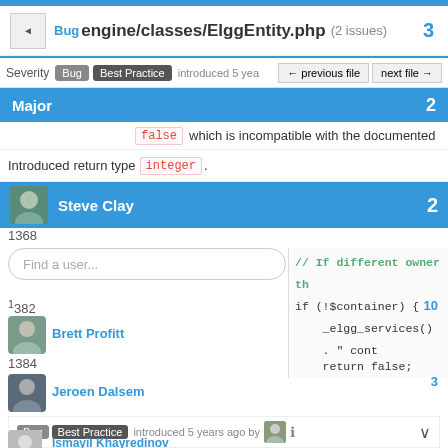Bug engine/classes/ElggEntity.php (2 issues) 3
Severity Bug Best Practice introduced 5 years ago ← previous file  next file →
Major 2
false which is incompatible with the documented
Introduced return type integer .
Steve Clay 2
1368
Find a user...
// If different owner th
if (!$container) {
    _elgg_services()
    . " cont
    return false;
1382
Brett Profitt 10
1384
Jeroen Dalsem 3
Bug Best Practice introduced 5 years ago by [avatar] 3
Ismayil Khayredinov
The expression return false returns the type
false which is incompatible with the documented 2
Jérôme Barker